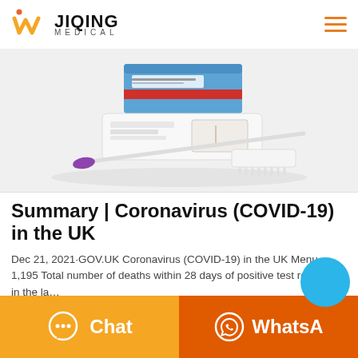JIQING MEDICAL
[Figure (photo): COVID-19 antigen rapid test kit product photo showing test components including swabs, buffer tube, test cassette, and blue packaging box labeled SARS-CoV-2 Antigen Rapid Test]
Summary | Coronavirus (COVID-19) in the UK
Dec 21, 2021·GOV.UK Coronavirus (COVID-19) in the UK Menu … 1,195 Total number of deaths within 28 days of positive test reported in the la…